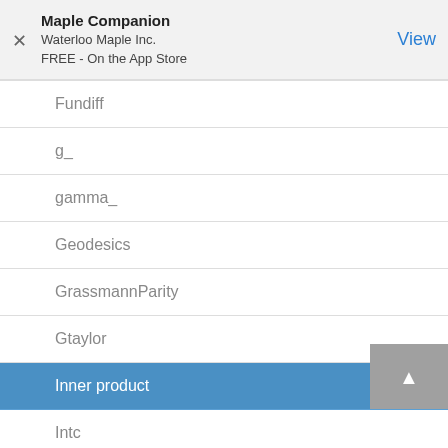Maple Companion
Waterloo Maple Inc.
FREE - On the App Store
Fundiff
g_
gamma_
Geodesics
GrassmannParity
Gtaylor
Inner product
Intc
Inverse